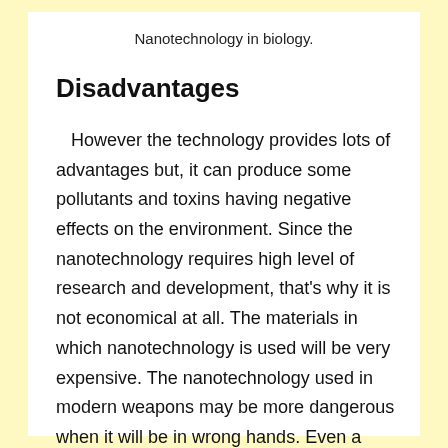Nanotechnology in biology.
Disadvantages
However the technology provides lots of advantages but, it can produce some pollutants and toxins having negative effects on the environment. Since the nanotechnology requires high level of research and development, that's why it is not economical at all. The materials in which nanotechnology is used will be very expensive. The nanotechnology used in modern weapons may be more dangerous when it will be in wrong hands. Even a small mistake can cause a large scale danger.